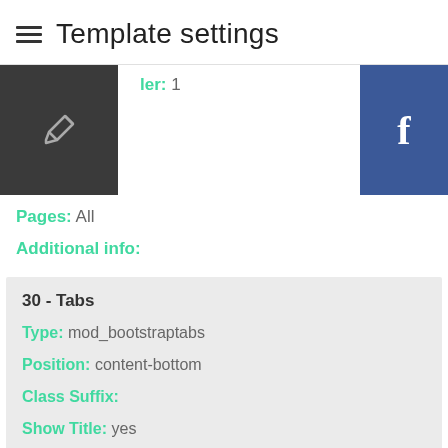Template settings
Order: 1
Pages: All
Additional info:
30 - Tabs
Type: mod_bootstraptabs
Position: content-bottom
Class Suffix:
Show Title: yes
Order: 1